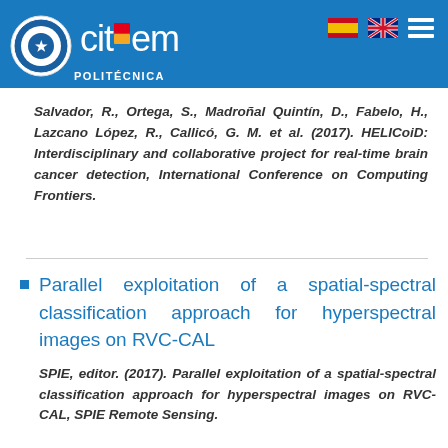cit5em POLITÉCNICA
Salvador, R., Ortega, S., Madroñal Quintín, D., Fabelo, H., Lazcano López, R., Callicó, G. M. et al. (2017). HELICoiD: Interdisciplinary and collaborative project for real-time brain cancer detection, International Conference on Computing Frontiers.
Parallel exploitation of a spatial-spectral classification approach for hyperspectral images on RVC-CAL
SPIE, editor. (2017). Parallel exploitation of a spatial-spectral classification approach for hyperspectral images on RVC-CAL, SPIE Remote Sensing.